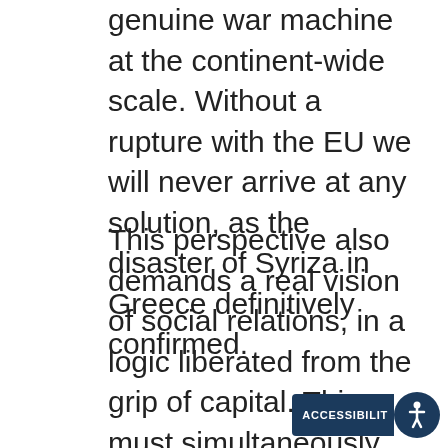genuine war machine at the continent-wide scale. Without a rupture with the EU we will never arrive at any solution, as the disaster of Syriza in Greece definitively confirmed.
This perspective also demands a real vision of social relations, in a logic liberated from the grip of capital. This must simultaneously be a concrete and realistic logic, based on transitional but well-defined targets. By now we are far from the stage where defending public services or proposing their extension would be sufficient.